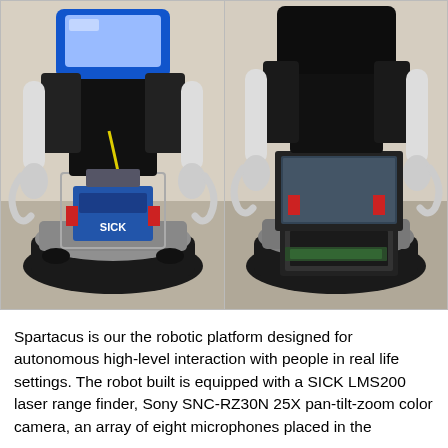[Figure (photo): Two side-by-side photographs of the Spartacus robotic platform. Left photo shows the front view of the robot with a SICK laser range finder (blue device) visible on the base, robotic arms with white curved ends, and a blue head with a screen. Right photo shows the rear view of the robot with a laptop computer placed on the base platform, and the same robotic arm configuration visible from behind.]
Spartacus is our the robotic platform designed for autonomous high-level interaction with people in real life settings. The robot built is equipped with a SICK LMS200 laser range finder, Sony SNC-RZ30N 25X pan-tilt-zoom color camera, an array of eight microphones placed in the